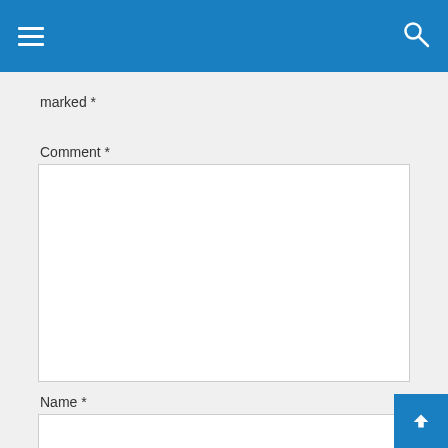marked *
Comment *
Name *
Email *